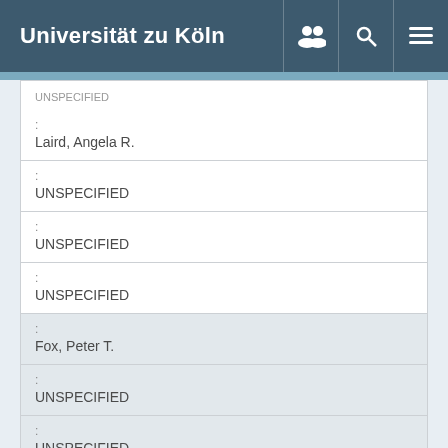Universität zu Köln
| : | Laird, Angela R. |
| : | UNSPECIFIED |
| : | UNSPECIFIED |
| : | UNSPECIFIED |
| : | Fox, Peter T. |
| : | UNSPECIFIED |
| : | UNSPECIFIED |